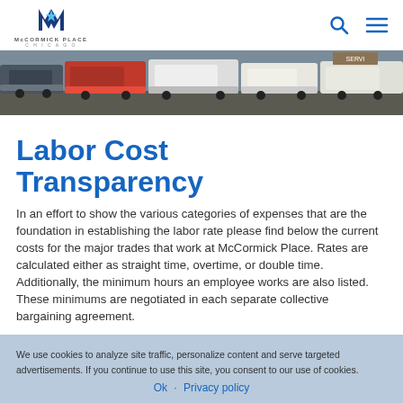McCormick Place Chicago — navigation bar with logo, search icon, and menu icon
[Figure (photo): Wide panoramic photo of semi-trucks and trailers parked at a loading dock area, presumably McCormick Place Chicago]
Labor Cost Transparency
In an effort to show the various categories of expenses that are the foundation in establishing the labor rate please find below the current costs for the major trades that work at McCormick Place. Rates are calculated either as straight time, overtime, or double time. Additionally, the minimum hours an employee works are also listed. These minimums are negotiated in each separate collective bargaining agreement.
We use cookies to analyze site traffic, personalize content and serve targeted advertisements. If you continue to use this site, you consent to our use of cookies. Ok   Privacy policy